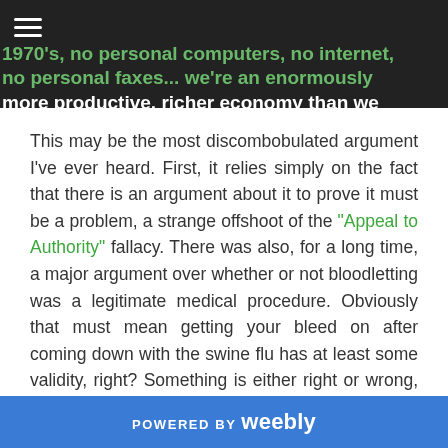1970's, no personal computers, no internet, no personal faxes... we're an enormously more productive, richer economy than we were in the 1970's." (10)
This may be the most discombobulated argument I've ever heard. First, it relies simply on the fact that there is an argument about it to prove it must be a problem, a strange offshoot of the "Appeal to Authority" fallacy. There was also, for a long time, a major argument over whether or not bloodletting was a legitimate medical procedure. Obviously that must mean getting your bleed on after coming down with the swine flu has at least some validity, right? Something is either right or wrong, it doesn't matter if there's an argument about it.
POWERED BY weebly